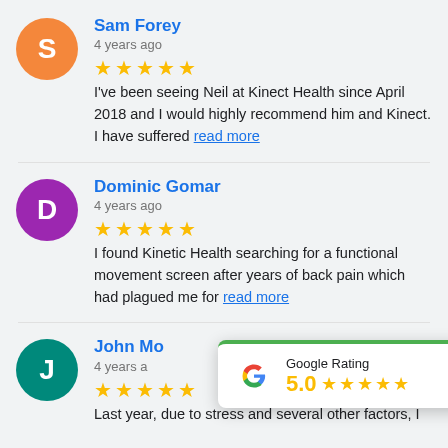Sam Forey
4 years ago
I've been seeing Neil at Kinect Health since April 2018 and I would highly recommend him and Kinect. I have suffered read more
Dominic Gomar
4 years ago
I found Kinetic Health searching for a functional movement screen after years of back pain which had plagued me for read more
John Mo
4 years ago
Last year, due to stress and several other factors, I
[Figure (infographic): Google Rating popup showing 5.0 stars with Google G logo]